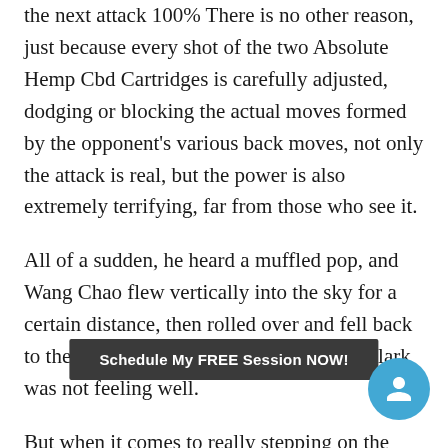the next attack 100% There is no other reason, just because every shot of the two Absolute Hemp Cbd Cartridges is carefully adjusted, dodging or blocking the actual moves formed by the opponent's various back moves, not only the attack is real, but the power is also extremely terrifying, far from those who see it.
All of a sudden, he heard a muffled pop, and Wang Chao flew vertically into the sky for a certain distance, then rolled over and fell back to the ground However, on the contrary, Clark was not feeling well.
But when it comes to really stepping on the land of another world, this is the first time The impact on her, who was born in
[Figure (other): Dark overlay bar with text 'Schedule My FREE Session NOW!' and a circular cyan user/chat button on the bottom-right corner]